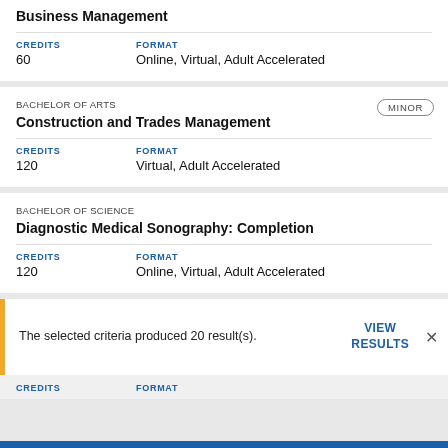Business Management
| CREDITS | FORMAT |
| --- | --- |
| 60 | Online, Virtual, Adult Accelerated |
BACHELOR OF ARTS
Construction and Trades Management
| CREDITS | FORMAT |
| --- | --- |
| 120 | Virtual, Adult Accelerated |
BACHELOR OF SCIENCE
Diagnostic Medical Sonography: Completion
| CREDITS | FORMAT |
| --- | --- |
| 120 | Online, Virtual, Adult Accelerated |
The selected criteria produced 20 result(s).
VIEW RESULTS
| CREDITS | FORMAT |
| --- | --- |